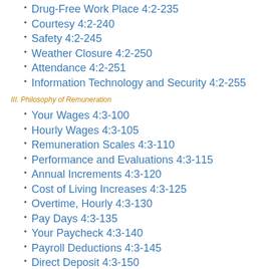Drug-Free Work Place 4:2-235
Courtesy 4:2-240
Safety 4:2-245
Weather Closure 4:2-250
Attendance 4:2-251
Information Technology and Security 4:2-255
III. Philosophy of Remuneration
Your Wages 4:3-100
Hourly Wages 4:3-105
Remuneration Scales 4:3-110
Performance and Evaluations 4:3-115
Annual Increments 4:3-120
Cost of Living Increases 4:3-125
Overtime, Hourly 4:3-130
Pay Days 4:3-135
Your Paycheck 4:3-140
Payroll Deductions 4:3-145
Direct Deposit 4:3-150
IV. Your benefits: Time off work